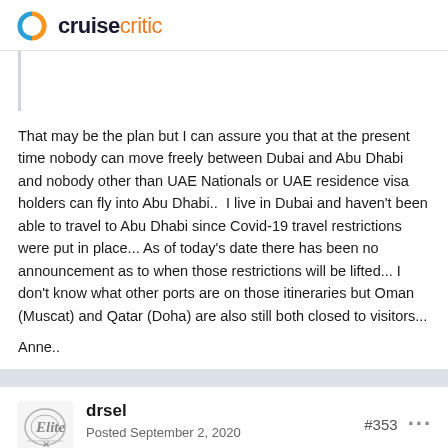cruisecritic
That may be the plan but I can assure you that at the present time nobody can move freely between Dubai and Abu Dhabi and nobody other than UAE Nationals or UAE residence visa holders can fly into Abu Dhabi..  I live in Dubai and haven't been able to travel to Abu Dhabi since Covid-19 travel restrictions were put in place... As of today's date there has been no announcement as to when those restrictions will be lifted... I don't know what other ports are on those itineraries but Oman (Muscat) and Qatar (Doha) are also still both closed to visitors...
Anne..
drsel
Posted September 2, 2020
#353